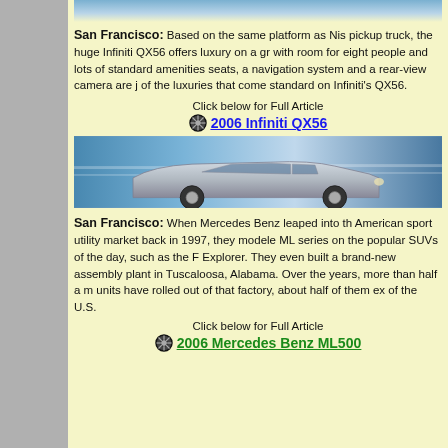[Figure (photo): Top strip showing partial car image with blue/gray background]
San Francisco: Based on the same platform as Niss pickup truck, the huge Infiniti QX56 offers luxury on a gra with room for eight people and lots of standard amenities seats, a navigation system and a rear-view camera are ju of the luxuries that come standard on Infiniti's QX56.
Click below for Full Article
2006 Infiniti QX56
[Figure (photo): Silver SUV (likely Mercedes ML or Infiniti QX56) driving at speed with motion-blurred blue background]
San Francisco: When Mercedes Benz leaped into th American sport utility market back in 1997, they modele ML series on the popular SUVs of the day, such as the F Explorer. They even built a brand-new assembly plant in Tuscaloosa, Alabama. Over the years, more than half a m units have rolled out of that factory, about half of them ex of the U.S.
Click below for Full Article
2006 Mercedes Benz ML500